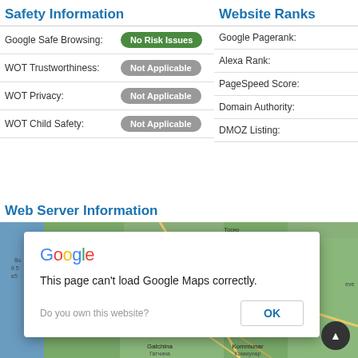Safety Information
|  |  |
| --- | --- |
| Google Safe Browsing: | No Risk Issues |
| WOT Trustworthiness: | Not Applicable |
| WOT Privacy: | Not Applicable |
| WOT Child Safety: | Not Applicable |
Website Ranks
|  |  |
| --- | --- |
| Google Pagerank: |  |
| Alexa Rank: |  |
| PageSpeed Score: |  |
| Domain Authority: |  |
| DMOZ Listing: |  |
Web Server Information
[Figure (screenshot): Google Maps embed showing a map of the Gatchina/Kommunar region in Russia, with a dialog overlay saying 'This page can't load Google Maps correctly.' with a 'Do you own this website?' prompt and an OK button.]